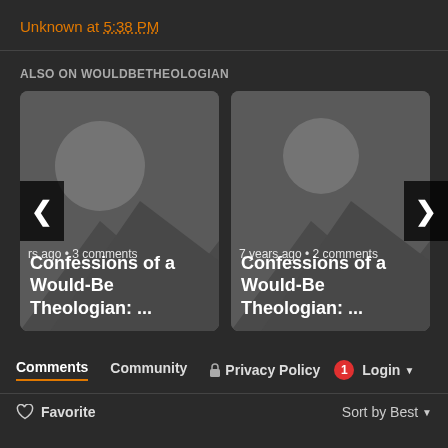Unknown at 5:38 PM
ALSO ON WOULDBETHEOLOGIAN
[Figure (screenshot): Card 1: placeholder image with mountain/sun silhouette, text 'rs ago • 3 comments', title 'Confessions of a Would-Be Theologian: ...']
[Figure (screenshot): Card 2: placeholder image with mountain/sun silhouette, text '7 years ago • 2 comments', title 'Confessions of a Would-Be Theologian: ...']
Comments   Community   Privacy Policy   1   Login   Favorite   Sort by Best